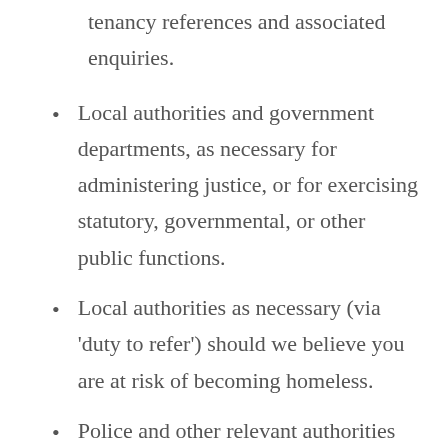tenancy references and associated enquiries.
Local authorities and government departments, as necessary for administering justice, or for exercising statutory, governmental, or other public functions.
Local authorities as necessary (via ‘duty to refer’) should we believe you are at risk of becoming homeless.
Police and other relevant authorities (e.g. Probation Service, Department of Work and Pensions, HM Revenue and Customs) in relation to the prevention or detection of crime and fraud the